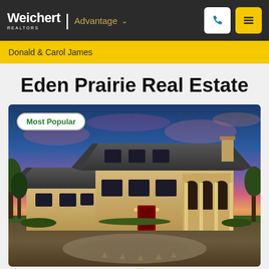[Figure (logo): Weichert Realtors Advantage logo with navigation icons (phone and menu) on dark background]
Donald & Carol James
Eden Prairie Real Estate
[Figure (photo): Luxury two-story stone house with arched columns photographed at dusk with colorful sunset sky. Badge reads 'Most Popular'.]